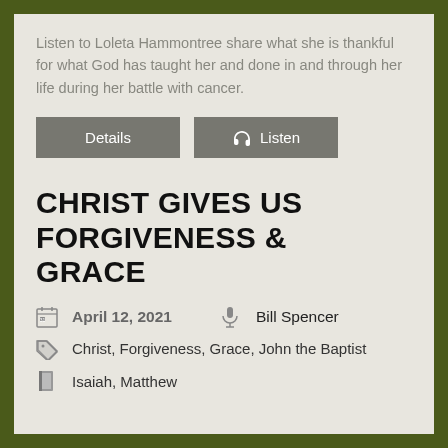Listen to Loleta Hammontree share what she is thankful for what God has taught her and done in and through her life during her battle with cancer.
Details   Listen
CHRIST GIVES US FORGIVENESS & GRACE
April 12, 2021   Bill Spencer
Christ, Forgiveness, Grace, John the Baptist
Isaiah, Matthew